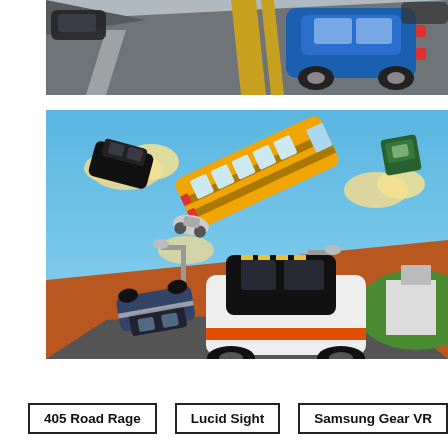[Figure (screenshot): Top image showing a racing game screenshot from a near-rear view perspective of a blue sports car on a grey highway with yellow center line markings and other cars visible.]
[Figure (screenshot): Bottom image showing a cartoon-style 3D game screenshot with vehicles (black SUV, overturned school bus, overturned cars, smaller vehicles) flying through the air against a blue sky with clouds, orange/brown terrain in the background.]
405 Road Rage
Lucid Sight
Samsung Gear VR